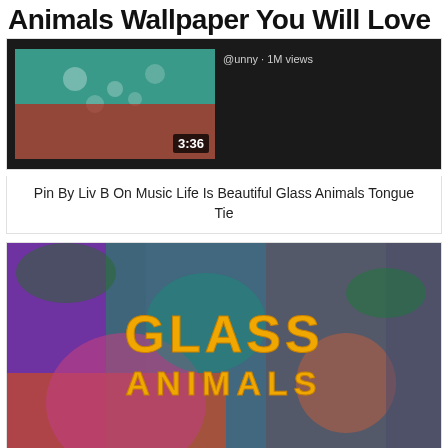Animals Wallpaper You Will Love
[Figure (screenshot): Video thumbnail showing people in water with timestamp 3:36, dark background with channel info]
Pin By Liv B On Music Life Is Beautiful Glass Animals Tongue Tie
[Figure (illustration): Glass Animals Zaba album art with colorful tropical illustration and bold yellow text reading GLASS ANIMALS]
Black Animals Zaba Album Art Glass Animals Cover Art